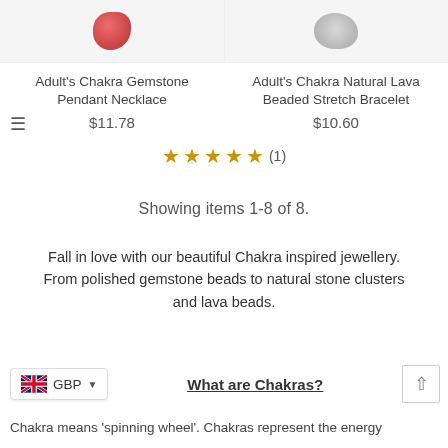[Figure (photo): Top portion of two product images: left shows a red gemstone pendant, right shows a grey beaded bracelet, both cropped at the top]
Adult's Chakra Gemstone Pendant Necklace
$11.78
Adult's Chakra Natural Lava Beaded Stretch Bracelet
$10.60
★★★★★ (1)
Showing items 1-8 of 8.
Fall in love with our beautiful Chakra inspired jewellery. From polished gemstone beads to natural stone clusters and lava beads.
What are Chakras?
Chakra means 'spinning wheel'. Chakras represent the energy